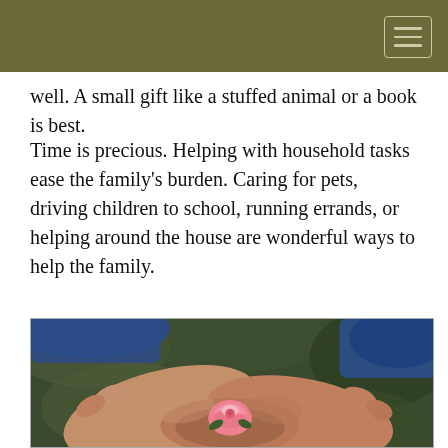well. A small gift like a stuffed animal or a book is best.
Time is precious. Helping with household tasks ease the family's burden. Caring for pets, driving children to school, running errands, or helping around the house are wonderful ways to help the family.
[Figure (photo): Two hands cupped together holding a small pink rose bud, person wearing a blue knit sweater, blurred green background]